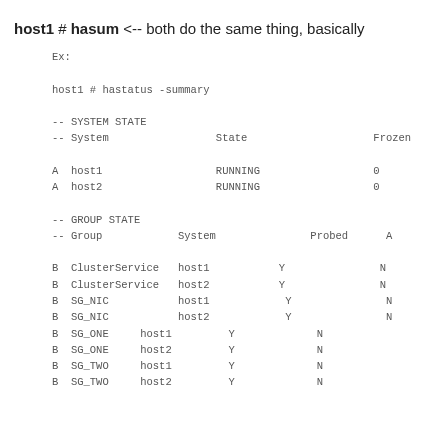host1 # hasum <-- both do the same thing, basically
Ex:

host1 # hastatus -summary

-- SYSTEM STATE
-- System                    State                    Frozen

A  host1                    RUNNING                  0
A  host2                    RUNNING                  0

-- GROUP STATE
-- Group           System              Probed      A

B  ClusterService  host1               Y            N
B  ClusterService  host2               Y            N
B  SG_NIC          host1               Y            N
B  SG_NIC          host2               Y            N
B  SG_ONE     host1         Y          N
B  SG_ONE     host2         Y          N
B  SG_TWO     host1         Y          N
B  SG_TWO     host2         Y          N